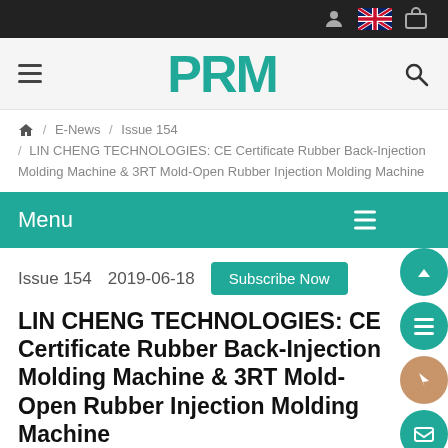PRM
/ E-News / Issue 154 / LIN CHENG TECHNOLOGIES: CE Certificate Rubber Back-Injection Molding Machine & 3RT Mold-Open Rubber Injection Molding Machine
Menu
Issue 154    2019-06-18    Subscribe Now
LIN CHENG TECHNOLOGIES: CE Certificate Rubber Back-Injection Molding Machine & 3RT Mold-Open Rubber Injection Molding Machine